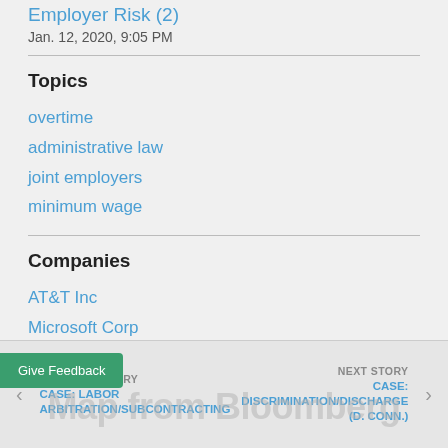Employer Risk (2)
Jan. 12, 2020, 9:05 PM
Topics
overtime
administrative law
joint employers
minimum wage
Companies
AT&T Inc
Microsoft Corp
PREVIOUS STORY
CASE: LABOR ARBITRATION/SUBCONTRACTING
NEXT STORY
CASE: DISCRIMINATION/DISCHARGE (D. CONN.)